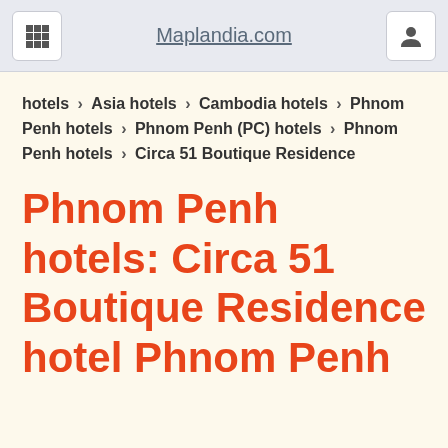Maplandia.com
hotels > Asia hotels > Cambodia hotels > Phnom Penh hotels > Phnom Penh (PC) hotels > Phnom Penh hotels > Circa 51 Boutique Residence
Phnom Penh hotels: Circa 51 Boutique Residence hotel Phnom Penh